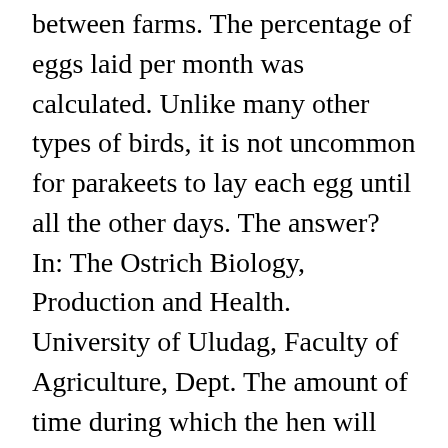between farms. The percentage of eggs laid per month was calculated. Unlike many other types of birds, it is not uncommon for parakeets to lay each egg until all the other days. The answer? In: The Ostrich Biology, Production and Health. University of Uludag, Faculty of Agriculture, Dept. The amount of time during which the hen will continue to lay fertile eggs depends on how much sperm fills the SSTs, which are capable of storing semen from multiple matings and multiple roosters. (1996) over five breeding seasons (1990 to 1994) in South Africa. Masalles Commercial, s.a., Ripollett, Barcelona, Spain. Sci, 48(7), 271-274. In this way, records were obtained for every bird on the farm. To attract females, males display